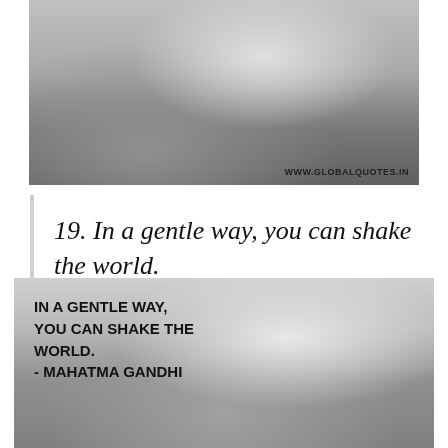[Figure (photo): Black and white photograph of Mahatma Gandhi reclining, with watermark WWW.GLOBALQUOTES.IN in the bottom right corner.]
19. In a gentle way, you can shake the world.
[Figure (photo): Black and white photograph of Mahatma Gandhi standing and smiling, with bold text overlay reading: IN A GENTLE WAY, YOU CAN SHAKE THE WORLD. - MAHATMA GANDHI]